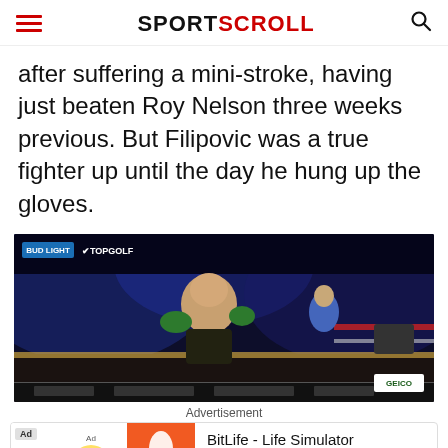SPORTSCROLL
after suffering a mini-stroke, having just beaten Roy Nelson three weeks previous. But Filipovic was a true fighter up until the day he hung up the gloves.
[Figure (photo): Boxing match photo showing a shirtless boxer with green gloves in the ring, with BUD LIGHT and TOPGOLF sponsor logos at top, and scoreboard graphics at bottom. Arena is lit with blue lights and a crowd is visible.]
Advertisement
BitLife - Life Simulator
Install!